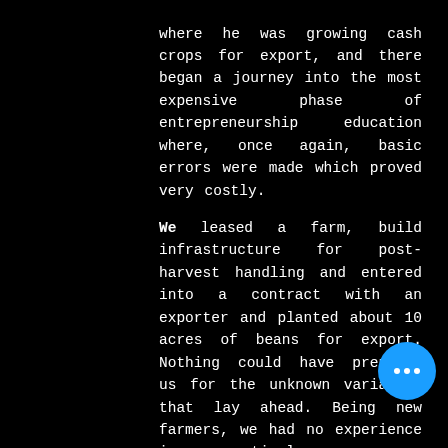where he was growing cash crops for export, and there began a journey into the most expensive phase of entrepreneurship education where, once again, basic errors were made which proved very costly. We leased a farm, build infrastructure for post-harvest handling and entered into a contract with an exporter and planted about 10 acres of beans for export. Nothing could have prepared us for the unknown variables that lay ahead. Being new farmers, we had no experience in optimal resource allocation and our wage costs were astronomical due to the scale at which we were farming. The usual challenges of farming then kept cropping up; water pump issues, pests, diseases, theft, but thankfully we made it to the first harvest with a really good crop. At this point, our lessons began piling up: the reality of price changes due to demand and supply